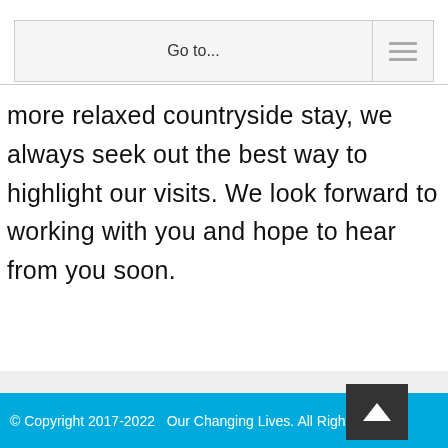Go to...
more relaxed countryside stay, we always seek out the best way to highlight our visits. We look forward to working with you and hope to hear from you soon.
© Copyright 2017-2022   Our Changing Lives. All Rights